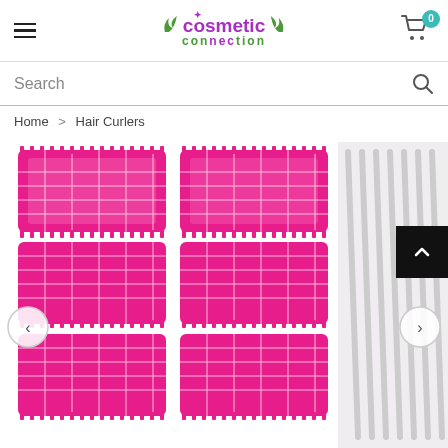Cosmetic Connection - Navigation header with hamburger menu, logo, and cart (0 items)
Search
Home > Hair Curlers
[Figure (photo): Pink velcro hair curlers (rollers) arranged in a grid pattern, with white hairpins/clips partially visible on the right side. Navigation arrows on left and right sides.]